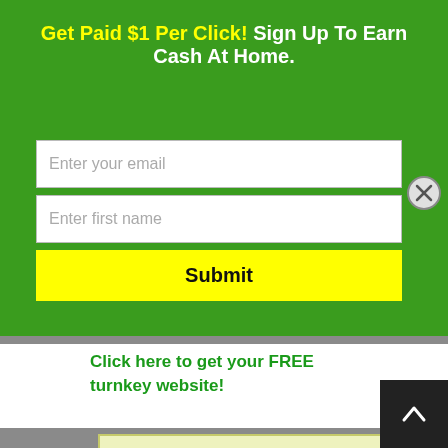Get Paid $1 Per Click! Sign Up To Earn Cash At Home.
Enter your email
Enter first name
Submit
Click here to get your FREE turnkey website!
Get Paid $1 Per Click: 100% FREE Method To Grow YOUR Income!
Get paid instantly to your PayPal account